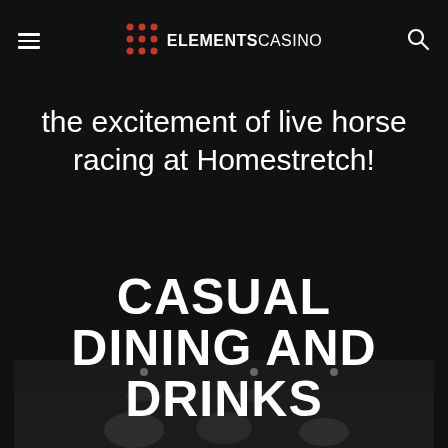ELEMENTS CASINO
the excitement of live horse racing at Homestretch!
CASUAL DINING AND DRINKS
[Figure (photo): Dark interior photo of a casino dining area, showing ceiling lights and seating]